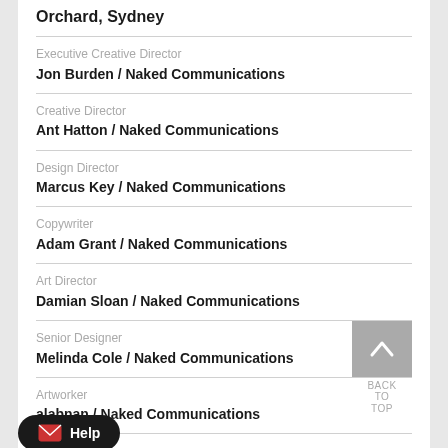Orchard, Sydney
Executive Creative Director
Jon Burden / Naked Communications
Creative Director
Ant Hatton / Naked Communications
Design Director
Marcus Key / Naked Communications
Copywriter
Adam Grant / Naked Communications
Art Director
Damian Sloan / Naked Communications
Senior Designer
Melinda Cole / Naked Communications
Artworker
alabnan / Naked Communications
Managing Director
Tim Kirby / Naked Communications